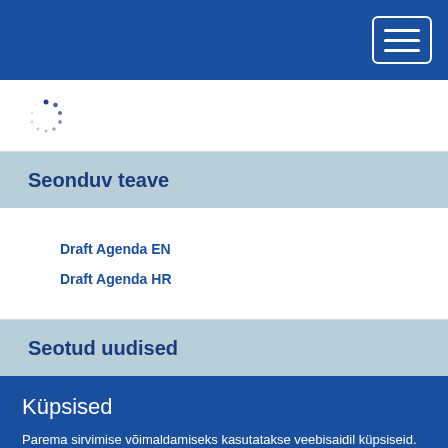[Figure (screenshot): Blue navigation bar with hamburger menu button (three horizontal white lines) in top-right corner]
[Figure (other): Loading spinner icon (dotted circle) on white background]
Seonduv teave
Draft Agenda EN
Draft Agenda HR
Seotud uudised
Küpsised
Parema sirvimise võimaldamiseks kasutatakse veebisaidil küpsiseid. Lugege täiendavalt, kuidas me küpsiseid kasutame ning kuidas saate muuta oma seadeid.
Ma nõustun küpsistega
Ma ei nõustu küpsistega